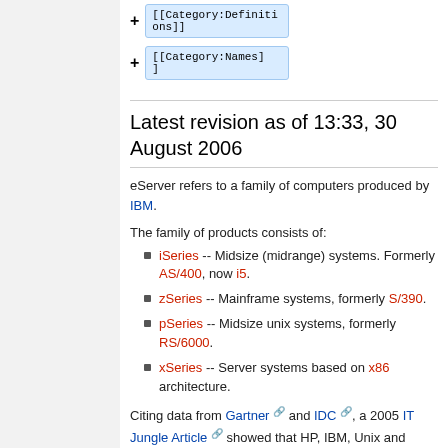[Figure (screenshot): Code boxes showing [[Category:Definitions]] and [[Category:Names]] with plus signs, on a light blue background]
Latest revision as of 13:33, 30 August 2006
eServer refers to a family of computers produced by IBM.
The family of products consists of:
iSeries -- Midsize (midrange) systems. Formerly AS/400, now i5.
zSeries -- Mainframe systems, formerly S/390.
pSeries -- Midsize unix systems, formerly RS/6000.
xSeries -- Server systems based on x86 architecture.
Citing data from Gartner and IDC, a 2005 IT Jungle Article showed that HP, IBM, Unix and Windows were tied for the global server